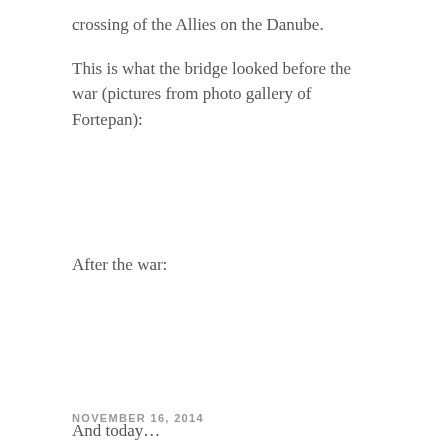crossing of the Allies on the Danube.
This is what the bridge looked before the war (pictures from photo gallery of Fortepan):
After the war:
And today…
NOVEMBER 16, 2014